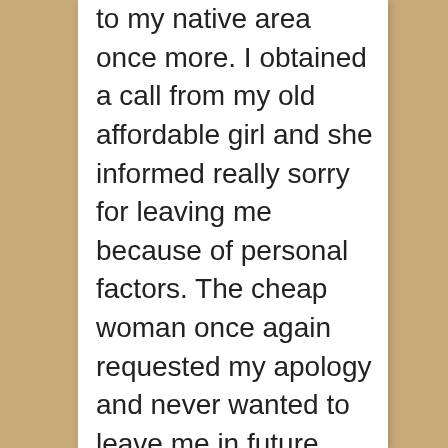to my native area once more. I obtained a call from my old affordable girl and she informed really sorry for leaving me because of personal factors. The cheap woman once again requested my apology and never wanted to leave me in future. Soon after this case, I left London for America to see the London woman. The low-cost woman noticed me in the American state and also hugged me. We once more come to be thick close friends and also I asked the reason for her see to America. She discussed them and I was encouraged this time around without asking more